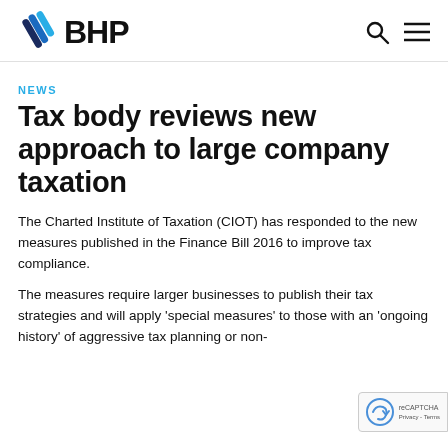BHP
NEWS
Tax body reviews new approach to large company taxation
The Charted Institute of Taxation (CIOT) has responded to the new measures published in the Finance Bill 2016 to improve tax compliance.
The measures require larger businesses to publish their tax strategies and will apply 'special measures' to those with an 'ongoing history' of aggressive tax planning or non-